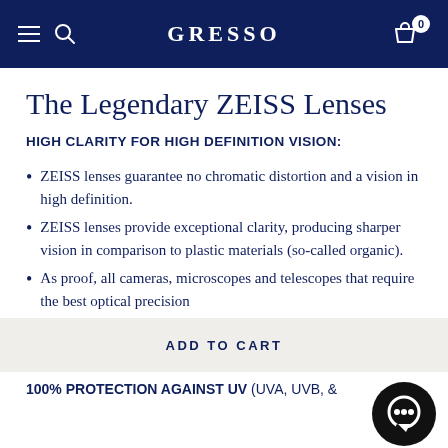GRESSO
The Legendary ZEISS Lenses
HIGH CLARITY FOR HIGH DEFINITION VISION:
ZEISS lenses guarantee no chromatic distortion and a vision in high definition.
ZEISS lenses provide exceptional clarity, producing sharper vision in comparison to plastic materials (so-called organic).
As proof, all cameras, microscopes and telescopes that require the best optical precision
ADD TO CART
100% PROTECTION AGAINST UV (UVA, UVB, &